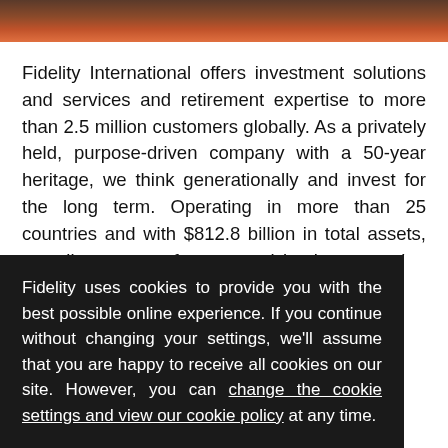[Figure (photo): Partial photo of a person, cropped at top of page, warm reddish-brown tones]
Fidelity International offers investment solutions and services and retirement expertise to more than 2.5 million customers globally. As a privately held, purpose-driven company with a 50-year heritage, we think generationally and invest for the long term. Operating in more than 25 countries and with $812.8 billion in total assets, our clients range from central banks, sovereign wealth funds, large corporations, financial...
Fidelity uses cookies to provide you with the best possible online experience. If you continue without changing your settings, we'll assume that you are happy to receive all cookies on our site. However, you can change the cookie settings and view our cookie policy at any time.
Continue